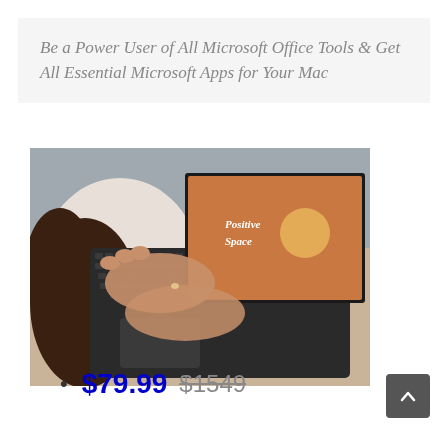Be a Power User of All Microsoft Office Tools & Get All Essential Microsoft Apps for Your Mac
[Figure (photo): Overhead view of a person with curly hair and a watch typing on a dark laptop/tablet keyboard. The device screen shows a presentation slide with an orange background and the text 'Positive Space'. The person is wearing a white outfit and sitting on a textured beige surface.]
$79.99 $1549